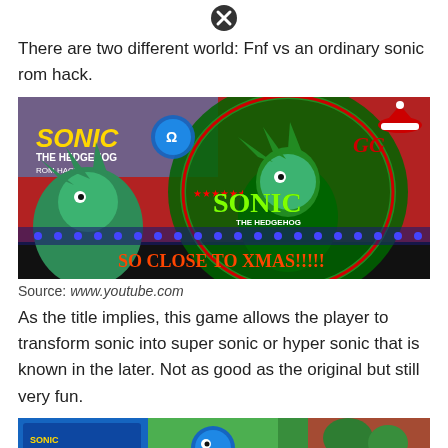There are two different world: Fnf vs an ordinary sonic rom hack.
[Figure (screenshot): Sonic the Hedgehog ROM Hacks game thumbnail showing green Sonic characters with Christmas theme and text 'SO CLOSE TO XMAS!!!!!']
Source: www.youtube.com
As the title implies, this game allows the player to transform sonic into super sonic or hyper sonic that is known in the later. Not as good as the original but still very fun.
[Figure (screenshot): Bottom portion of another Sonic game screenshot showing Sonic with a close button overlay]